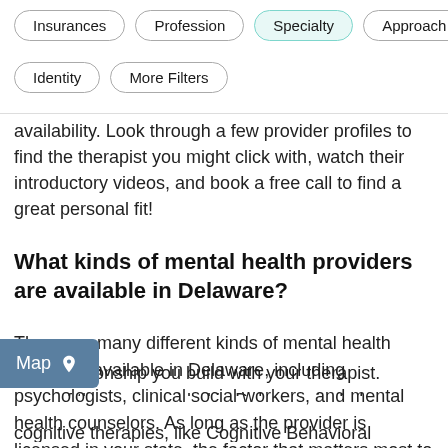Insurances
Profession
Specialty
Approach
Identity
More Filters
availability. Look through a few provider profiles to find the therapist you might click with, watch their introductory videos, and book a free call to find a great personal fit!
What kinds of mental health providers are available in Delaware?
There are many different kinds of mental health providers available in Delaware, including psychologists, clinical social workers, and mental health counselors. As long as the provider is licensed in your state, the factor that matters most to therapy outcomes is the therapeutic r the relationship you build with your therapist. ypes of therapy provided in Delaware include cognitive therapies, like Cognitive Behavioral Therapy
[Figure (other): Map button overlay in bottom left corner showing 'Map' text with a location pin icon on a blue-grey background]